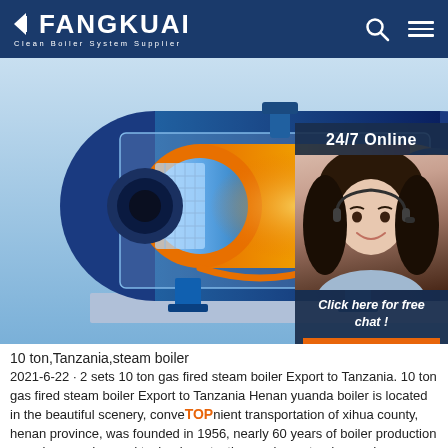FANGKUAI Clean Boiler System Supplier
[Figure (photo): Industrial gas-fired steam boiler cutaway/3D render showing internal components with blue metallic casing, orange combustion chamber, and cylindrical heat exchanger tubes. Background is a blue gradient.]
[Figure (photo): Customer service agent (woman with headset, smiling) with '24/7 Online' badge and 'Click here for free chat!' button and QUOTATION button overlaid on the right side of the main image.]
10 ton,Tanzania,steam boiler
2021-6-22 · 2 sets 10 ton gas fired steam boiler Export to Tanzania. 10 ton gas fired steam boiler Export to Tanzania Henan yuanda boiler is located in the beautiful scenery, convenient transportation of xihua county, henan province, was founded in 1956, nearly 60 years of boiler production experience, advanced technology, testing equipment, advanced technology and